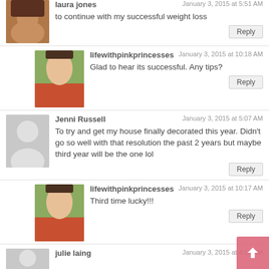laura jones — January 3, 2015 at 5:51 AM
to continue with my successful weight loss
lifewithpinkprincesses — January 3, 2015 at 10:18 AM
Glad to hear its successful. Any tips?
Jenni Russell — January 3, 2015 at 5:07 AM
To try and get my house finally decorated this year. Didn't go so well with that resolution the past 2 years but maybe third year will be the one lol
lifewithpinkprincesses — January 3, 2015 at 10:17 AM
Third time lucky!!!
julie laing — January 3, 2015 at 4:16 AM